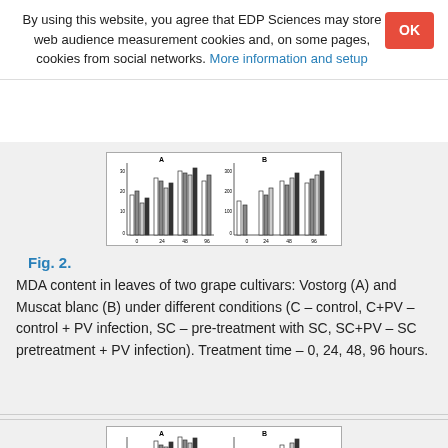By using this website, you agree that EDP Sciences may store web audience measurement cookies and, on some pages, cookies from social networks. More information and setup
[Figure (bar-chart): Bar chart showing MDA content in leaves of two grape cultivars Vostorg (A) and Muscat blanc (B) under different treatment conditions and time points (0, 24, 48, 96 hours)]
Fig. 2. MDA content in leaves of two grape cultivars: Vostorg (A) and Muscat blanc (B) under different conditions (C – control, C+PV – control + PV infection, SC – pre-treatment with SC, SC+PV – SC pretreatment + PV infection). Treatment time – 0, 24, 48, 96 hours.
[Figure (bar-chart): Second bar chart (partially visible at bottom) showing similar measurements for another figure]